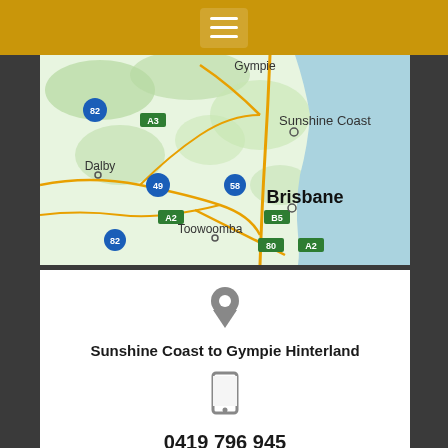Navigation menu header bar with hamburger icon
[Figure (map): Google Maps view showing Queensland, Australia region including Gympie, Sunshine Coast, Brisbane, Toowoomba, Dalby and surrounding areas with road numbers A2, A3, B2, B5, 49, 58, 80, 82]
[Figure (other): Location pin icon (grey map marker)]
Sunshine Coast to Gympie Hinterland
[Figure (other): Mobile phone icon (grey)]
0419 796 945